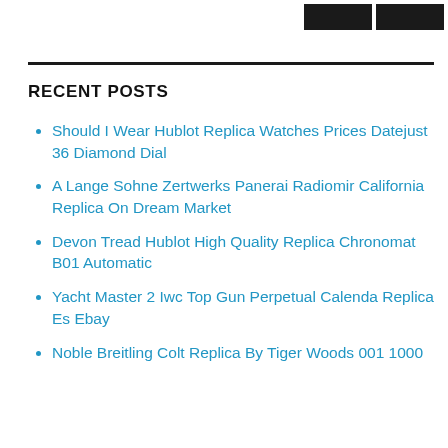RECENT POSTS
Should I Wear Hublot Replica Watches Prices Datejust 36 Diamond Dial
A Lange Sohne Zertwerks Panerai Radiomir California Replica On Dream Market
Devon Tread Hublot High Quality Replica Chronomat B01 Automatic
Yacht Master 2 Iwc Top Gun Perpetual Calenda Replica Es Ebay
Noble Breitling Colt Replica By Tiger Woods 001 1000